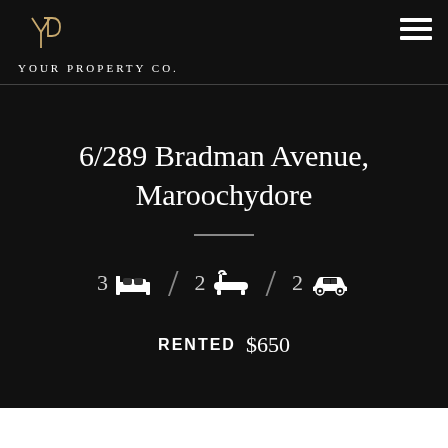YOUR PROPERTY CO.
6/289 Bradman Avenue, Maroochydore
3 bedrooms / 2 bathrooms / 2 car spaces
RENTED $650